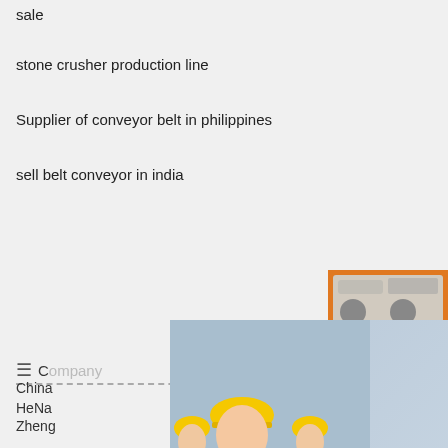sale
stone crusher production line
Supplier of conveyor belt in philippines
sell belt conveyor in india
[Figure (screenshot): Live Chat overlay with person in hard hat, LIVE CHAT title in red italic, 'Click for a Free Consultation' subtitle, Chat now (pink) and Chat later (dark) buttons]
[Figure (screenshot): Right sidebar with orange background showing mining machinery images, 'Enjoy 3% discount', 'Click to Chat' in yellow, Enquiry button, limingjlmofen@sina.com email]
Company
China
HeNa
Zheng
No. 139, High-tech Zone
How To Contact Us
Email: limingjlmofen@sina.com
Phone: +86 (0371)8654 9132
Office Hours
24 hours at your service